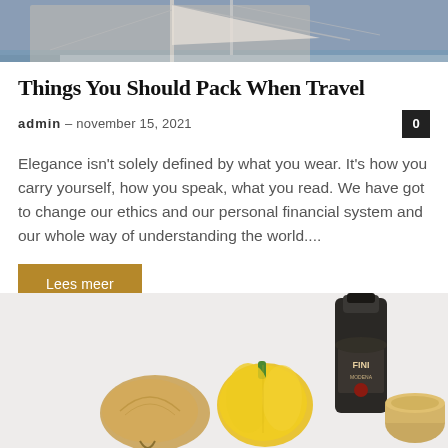[Figure (photo): Top portion of a sailing boat on water, mast and ropes visible, ocean background]
Things You Should Pack When Travel
admin – november 15, 2021
Elegance isn't solely defined by what you wear. It's how you carry yourself, how you speak, what you read. We have got to change our ethics and our personal financial system and our whole way of understanding the world....
Lees meer
[Figure (photo): Product photo showing a FINI branded dark bottle, yellow bell pepper, onion, and a wooden container on a light gray background]